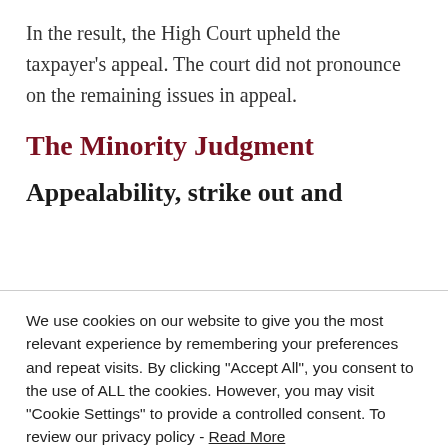In the result, the High Court upheld the taxpayer’s appeal. The court did not pronounce on the remaining issues in appeal.
The Minority Judgment
Appealability, strike out and
We use cookies on our website to give you the most relevant experience by remembering your preferences and repeat visits. By clicking “Accept All”, you consent to the use of ALL the cookies. However, you may visit "Cookie Settings" to provide a controlled consent. To review our privacy policy - Read More